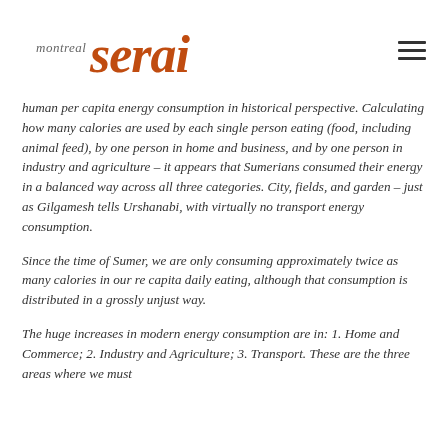montreal serai
human per capita energy consumption in historical perspective. Calculating how many calories are used by each single person eating (food, including animal feed), by one person in home and business, and by one person in industry and agriculture – it appears that Sumerians consumed their energy in a balanced way across all three categories. City, fields, and garden – just as Gilgamesh tells Urshanabi, with virtually no transport energy consumption.
Since the time of Sumer, we are only consuming approximately twice as many calories in our re capita daily eating, although that consumption is distributed in a grossly unjust way.
The huge increases in modern energy consumption are in: 1. Home and Commerce; 2. Industry and Agriculture; 3. Transport. These are the three areas where we must